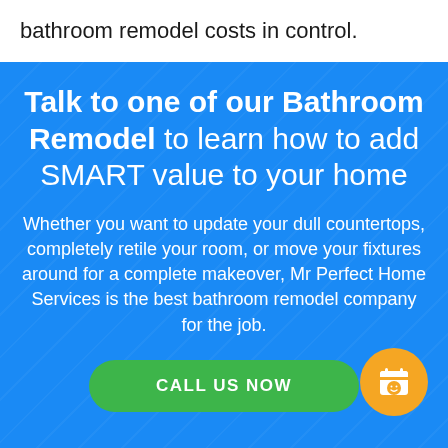bathroom remodel costs in control.
Talk to one of our Bathroom Remodel to learn how to add SMART value to your home
Whether you want to update your dull countertops, completely retile your room, or move your fixtures around for a complete makeover, Mr Perfect Home Services is the best bathroom remodel company for the job.
CALL US NOW